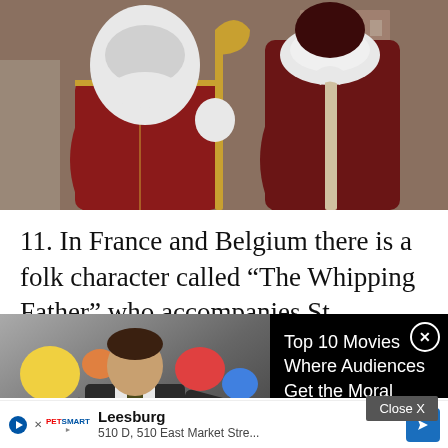[Figure (photo): Two people in red and dark maroon costumes resembling St. Nicholas and a companion character, wearing elaborate robes and white wigs, walking in what appears to be a parade or procession on a street.]
11. In France and Belgium there is a folk character called “The Whipping Father” who accompanies St. Nicholas. He beats
[Figure (screenshot): Embedded video advertisement showing a man in a suit from what appears to be a movie scene, with 'Top 10 Movies Where Audiences Get the Moral Wrong' text displayed on a black panel. WatchMojo 'mojo' branding visible. A close X button in top right corner.]
substantial shape hill of
[Figure (screenshot): PetSmart advertisement bar showing 'Leesburg' location with address '510 D, 510 East Market Stre...' and a blue navigation arrow button on the right. Play and cancel icons on the left.]